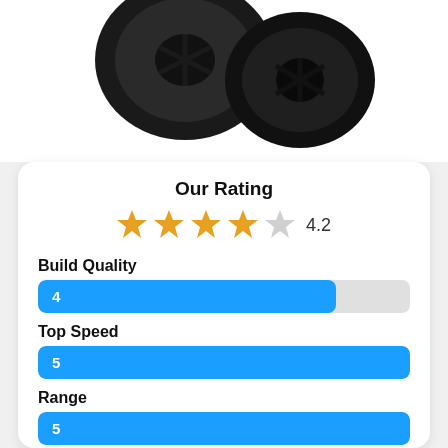[Figure (photo): Product photo showing black wheels/tires from above, partially cropped at top]
Our Rating
[Figure (infographic): Star rating display showing 4 filled orange stars and 1 empty star, with rating value 4.2]
Build Quality
[Figure (bar-chart): Build Quality]
Top Speed
[Figure (bar-chart): Top Speed]
Range
[Figure (bar-chart): Range]
Features